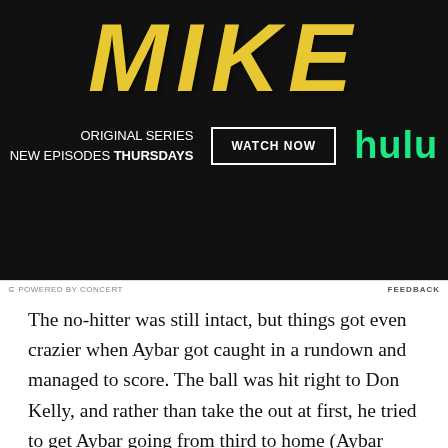[Figure (photo): Hulu advertisement for 'MIKE' original series. Dark background with large yellow distressed 'MIKE' text, subtitle 'ORIGINAL SERIES / NEW EPISODES THURSDAYS', a 'WATCH NOW' button outlined in white, and the Hulu logo in green.]
⊆ POWERED BY CONCERT    FEEDBACK
The no-hitter was still intact, but things got even crazier when Aybar got caught in a rundown and managed to score. The ball was hit right to Don Kelly, and rather than take the out at first, he tried to get Aybar going from third to home (Aybar previously advanced to second on the throwing error and to third on a ground out). The Tigers got Aybar in a rundown, but he scored and put the Angels on the board. The play was ruled a fielder's choice, so the no-hitter continued. Verlander struck out the next batter, but then Izturis came up and